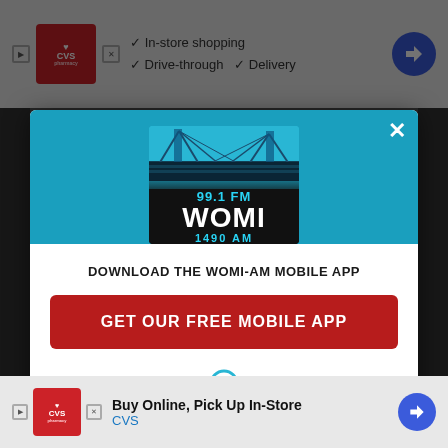[Figure (screenshot): Screenshot of a website with a modal popup dialog for WOMI radio station (99.1 FM / 1490 AM) mobile app download, overlaying a page with CVS pharmacy advertisements at top and bottom.]
DOWNLOAD THE WOMI-AM MOBILE APP
GET OUR FREE MOBILE APP
Also listen on:  amazon alexa